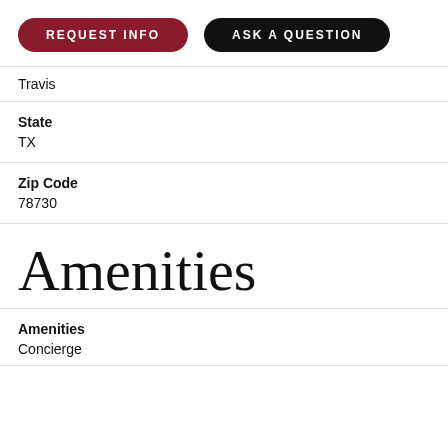[Figure (other): Two buttons: REQUEST INFO (dark red/maroon pill button) and ASK A QUESTION (black pill button)]
Travis
State
TX
Zip Code
78730
Amenities
Amenities
Concierge